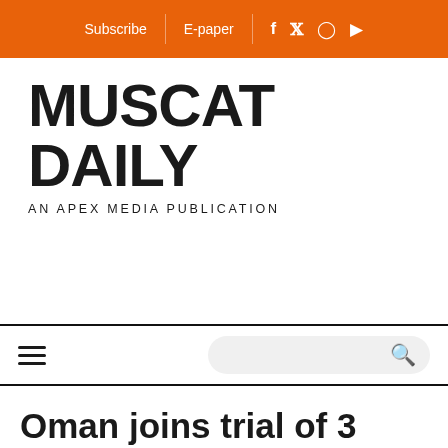Friday, August 20 | 10:12 AM | Subscribe | E-paper | Facebook | Twitter | Instagram | YouTube
[Figure (logo): Muscat Daily logo — AN APEX MEDIA PUBLICATION]
MUSCAT DAILY
AN APEX MEDIA PUBLICATION
Oman joins trial of 3 potential hor COVID-